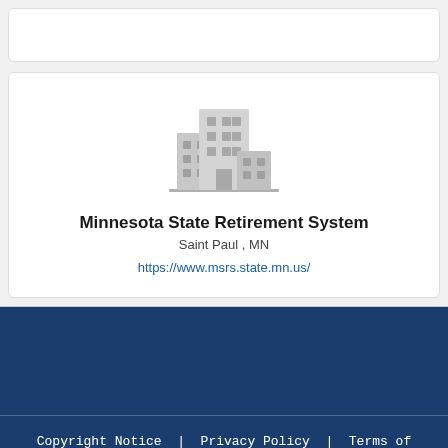[Figure (illustration): Building/office icon in gray representing an organization]
Minnesota State Retirement System
Saint Paul , MN
https://www.msrs.state.mn.us/
Copyright Notice | Privacy Policy | Terms of Service | Post a Job